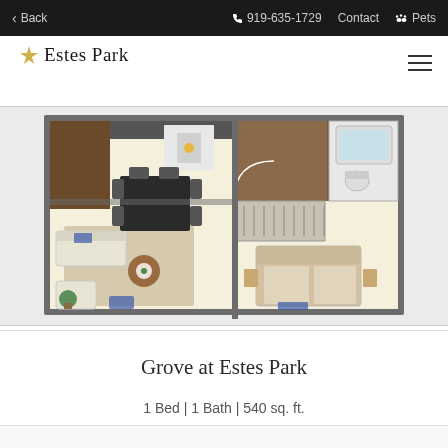Back | 919-635-1729 | Contact | Pets
Estes Park
[Figure (illustration): 3D rendered floor plan of a 1 bed/1 bath apartment unit showing living area, kitchen, bedroom with closet, and bathroom from a top-down perspective]
Grove at Estes Park
1 Bed | 1 Bath | 540 sq. ft.